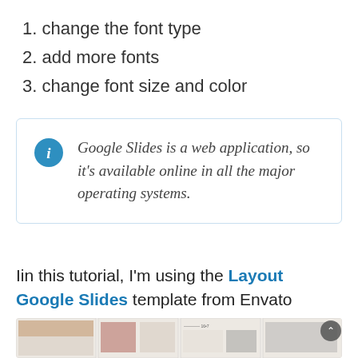1. change the font type
2. add more fonts
3. change font size and color
Google Slides is a web application, so it's available online in all the major operating systems.
Iin this tutorial, I'm using the Layout Google Slides template from Envato Elements.
[Figure (screenshot): Screenshot of a Google Slides template gallery showing multiple slide thumbnails in a warm brown/tan color scheme with photos and text layouts.]